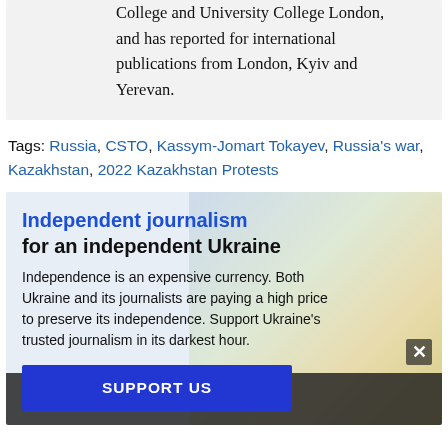College and University College London, and has reported for international publications from London, Kyiv and Yerevan.
Tags: Russia, CSTO, Kassym-Jomart Tokayev, Russia's war, Kazakhstan, 2022 Kazakhstan Protests
[Figure (illustration): Promotional box with Ukrainian flag background showing blue sky and yellow flag, with text about independent journalism and a support button]